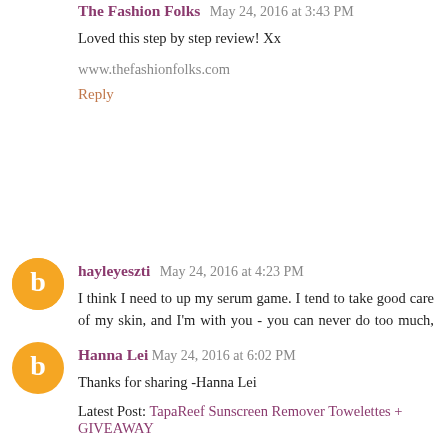The Fashion Folks  May 24, 2016 at 3:43 PM
Loved this step by step review! Xx
www.thefashionfolks.com
Reply
hayleyeszti  May 24, 2016 at 4:23 PM
I think I need to up my serum game. I tend to take good care of my skin, and I'm with you - you can never do too much, but serums are something I have not really explored yet.
Hayley-Eszti | www.HayleyEszti.com
Reply
Hanna Lei  May 24, 2016 at 6:02 PM
Thanks for sharing -Hanna Lei
Latest Post: TapaReef Sunscreen Remover Towelettes + GIVEAWAY